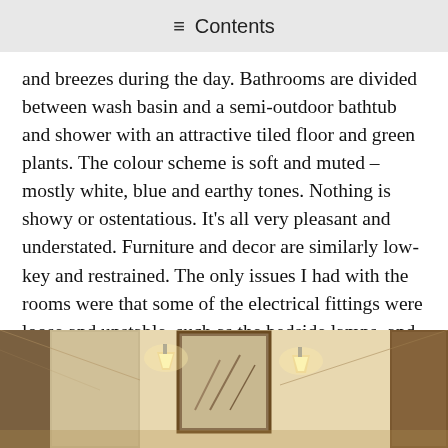≡  Contents
and breezes during the day. Bathrooms are divided between wash basin and a semi-outdoor bathtub and shower with an attractive tiled floor and green plants. The colour scheme is soft and muted – mostly white, blue and earthy tones. Nothing is showy or ostentatious. It's all very pleasant and understated. Furniture and decor are similarly low-key and restrained. The only issues I had with the rooms were that some of the electrical fittings were loose and unstable, such as the bedside lamps, and Camia has made the common mistake of confusing softness with comfort: the beds are far too soft and squishy, especially for a tropical climate.
[Figure (photo): Interior hotel room photo showing warm-lit walls with two wall sconces/lamps on either side, a framed artwork in the center, wooden door frames, and angled ceiling details in warm golden/cream tones.]